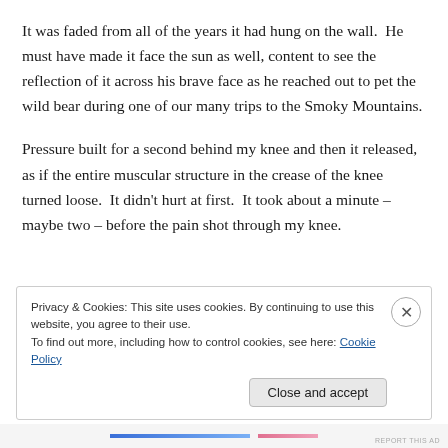It was faded from all of the years it had hung on the wall.  He must have made it face the sun as well, content to see the reflection of it across his brave face as he reached out to pet the wild bear during one of our many trips to the Smoky Mountains.
Pressure built for a second behind my knee and then it released, as if the entire muscular structure in the crease of the knee turned loose.  It didn't hurt at first.  It took about a minute – maybe two – before the pain shot through my knee.
Privacy & Cookies: This site uses cookies. By continuing to use this website, you agree to their use.
To find out more, including how to control cookies, see here: Cookie Policy

Close and accept